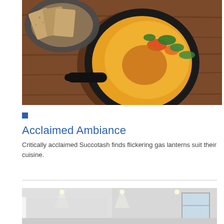[Figure (photo): Overhead shot of a cast iron skillet containing shakshuka-style egg dish with spinach, peppers, and tomato sauce, alongside a pan of sliced bread on a wooden surface.]
Acclaimed Ambiance
Critically acclaimed Succotash finds flickering gas lanterns suit their cuisine.
[Figure (photo): Interior photo of a modern white room with recessed lighting, large windows, and clean minimalist design.]